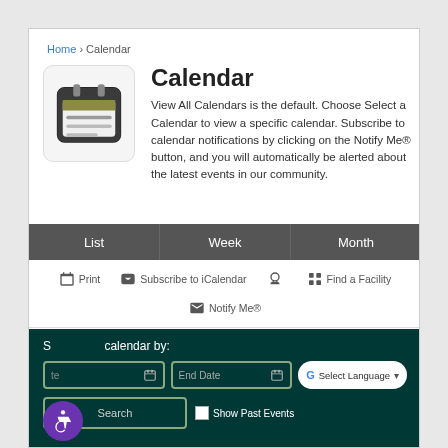Home › Calendar
Calendar
View All Calendars is the default. Choose Select a Calendar to view a specific calendar. Subscribe to calendar notifications by clicking on the Notify Me® button, and you will automatically be alerted about the latest events in our community.
List | Week | Month
Print | Subscribe to iCalendar | Find a Facility | Notify Me®
Search calendar by:
End Date | Show Past Events | Search